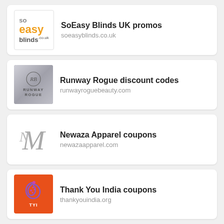[Figure (logo): SoEasy Blinds UK logo with orange 'easy' text]
SoEasy Blinds UK promos
soeasyblinds.co.uk
[Figure (logo): Runway Rogue beauty logo on silver/grey background]
Runway Rogue discount codes
runwayroguebeauty.com
[Figure (logo): Newaza Apparel monogram logo in grey]
Newaza Apparel coupons
newazaapparel.com
[Figure (logo): Thank You India TYI logo on orange background]
Thank You India coupons
thankyouindia.org